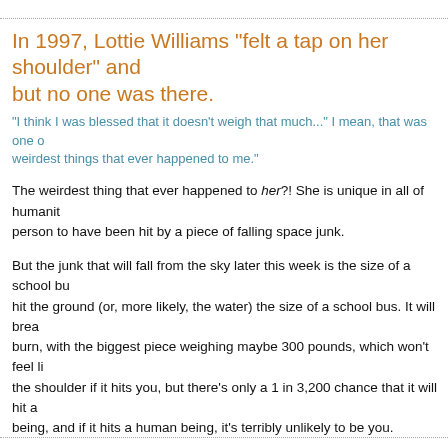In 1997, Lottie Williams "felt a tap on her shoulder" and but no one was there.
"I think I was blessed that it doesn't weigh that much..." I mean, that was one of the weirdest things that ever happened to me."
The weirdest thing that ever happened to her?! She is unique in all of humanity as the person to have been hit by a piece of falling space junk.
But the junk that will fall from the sky later this week is the size of a school bus hit the ground (or, more likely, the water) the size of a school bus. It will break burn, with the biggest piece weighing maybe 300 pounds, which won't feel like the shoulder if it hits you, but there's only a 1 in 3,200 chance that it will hit a being, and if it hits a human being, it's terribly unlikely to be you.
Posted by Ann Althouse at 5:46 AM  28 comments
Tags: science